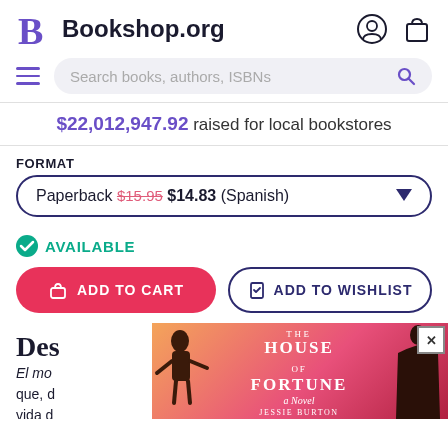Bookshop.org
$22,012,947.92 raised for local bookstores
FORMAT
Paperback $15.95 $14.83 (Spanish)
AVAILABLE
ADD TO CART
ADD TO WISHLIST
Des
El mon... itual que, d... la vida d...
[Figure (illustration): The House of Fortune - A Novel by Jessie Burton book advertisement overlay with orange-red gradient background, silhouette figures on left and right]